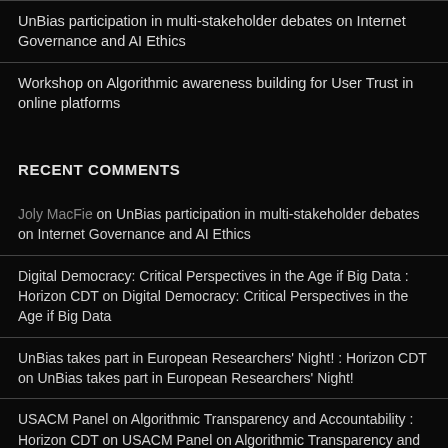UnBias participation in multi-stakeholder debates on Internet Governance and AI Ethics
Workshop on Algorithmic awareness building for User Trust in online platforms
RECENT COMMENTS
Joly MacFie on UnBias participation in multi-stakeholder debates on Internet Governance and AI Ethics
Digital Democracy: Critical Perspectives in the Age if Big Data : Horizon CDT on Digital Democracy: Critical Perspectives in the Age if Big Data
UnBias takes part in European Researchers' Night! : Horizon CDT on UnBias takes part in European Researchers' Night!
USACM Panel on Algorithmic Transparency and Accountability : Horizon CDT on USACM Panel on Algorithmic Transparency and Accountability